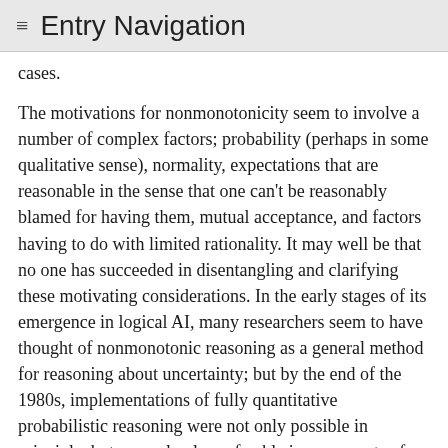≡ Entry Navigation
cases.
The motivations for nonmonotonicity seem to involve a number of complex factors; probability (perhaps in some qualitative sense), normality, expectations that are reasonable in the sense that one can't be reasonably blamed for having them, mutual acceptance, and factors having to do with limited rationality. It may well be that no one has succeeded in disentangling and clarifying these motivating considerations. In the early stages of its emergence in logical AI, many researchers seem to have thought of nonmonotonic reasoning as a general method for reasoning about uncertainty; but by the end of the 1980s, implementations of fully quantitative probabilistic reasoning were not only possible in principle, but were clearly preferable in many sorts of applications to methods involving nonmonotonic logic. A plausible and realistic rationale for nonmonotonic logic has to fit it into a broader picture of reasoning about uncertainty that also includes probabilistic reasoning.[15]